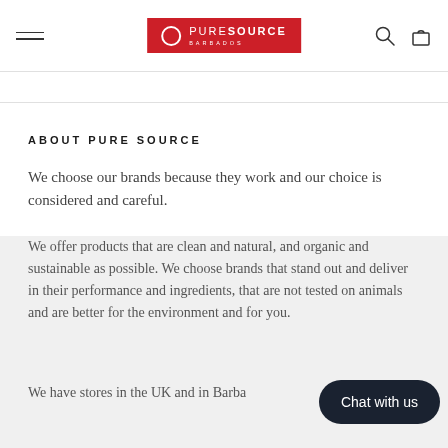Pure Source — navigation header with hamburger menu, logo, search and bag icons
ABOUT PURE SOURCE
We choose our brands because they work and our choice is considered and careful.
We offer products that are clean and natural, and organic and sustainable as possible. We choose brands that stand out and deliver in their performance and ingredients, that are not tested on animals and are better for the environment and for you.
We have stores in the UK and in Barbados. As an independent, we pride ourselves in offering an unbiased service to all of our customers.